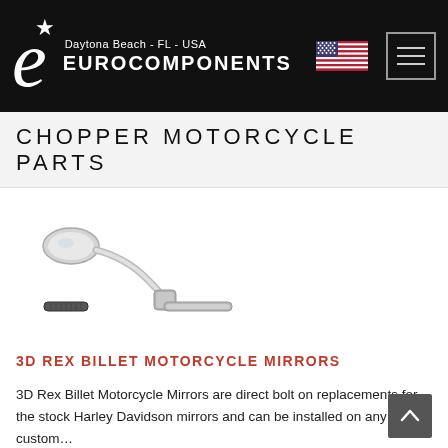[Figure (logo): Eurocomponents logo with stylized 'e*' in white on black background, with US flag, text 'Daytona Beach - FL - USA', 'EUROCOMPONENTS', and a hamburger menu icon]
CHOPPER MOTORCYCLE PARTS
[Figure (photo): Chrome 3D Rex Billet motorcycle mirror mounted on handlebar, viewed from front-left angle, showing oval mirror head and knuckle-style mount]
3D REX BILLET MOTORCYCLE MIRRORS
3D Rex Billet Motorcycle Mirrors are direct bolt on replacements for the stock Harley Davidson mirrors and can be installed on any custom...